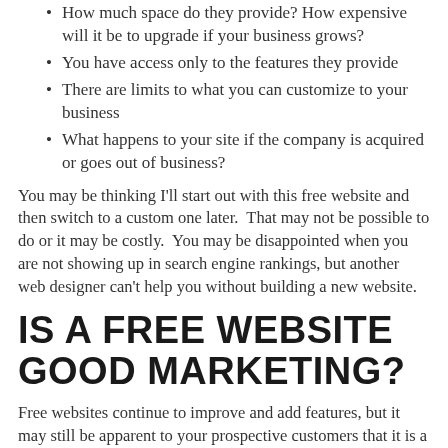How much space do they provide?  How expensive will it be to upgrade if your business grows?
You have access only to the features they provide
There are limits to what you can customize to your business
What happens to your site if the company is acquired or goes out of business?
You may be thinking I'll start out with this free website and then switch to a custom one later.  That may not be possible to do or it may be costly.  You may be disappointed when you are not showing up in search engine rankings, but another web designer can't help you without building a new website.
IS A FREE WEBSITE GOOD MARKETING?
Free websites continue to improve and add features, but it may still be apparent to your prospective customers that it is a free website.  How serious are you about your business?  Do you look like a business